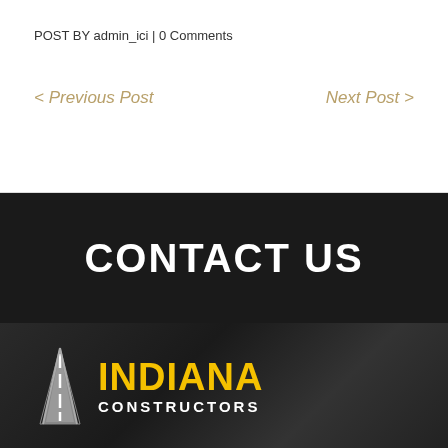POST BY admin_ici | 0 Comments
< Previous Post
Next Post >
CONTACT US
[Figure (logo): Indiana Constructors logo with road/highway icon in grey and yellow text]